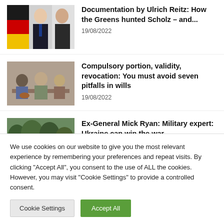[Figure (photo): Thumbnail showing political figures including Scholz]
Documentation by Ulrich Reitz: How the Greens hunted Scholz – and...
19/08/2022
[Figure (photo): Thumbnail showing people in a meeting/consultation setting]
Compulsory portion, validity, revocation: You must avoid seven pitfalls in wills
19/08/2022
[Figure (photo): Thumbnail showing military vehicles or outdoor scene]
Ex-General Mick Ryan: Military expert: Ukraine can win the war...
We use cookies on our website to give you the most relevant experience by remembering your preferences and repeat visits. By clicking "Accept All", you consent to the use of ALL the cookies. However, you may visit "Cookie Settings" to provide a controlled consent.